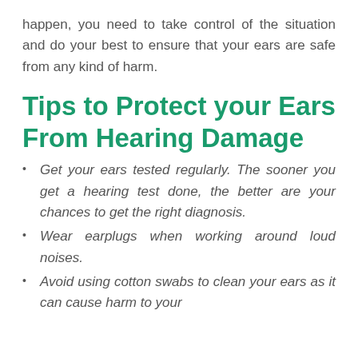happen, you need to take control of the situation and do your best to ensure that your ears are safe from any kind of harm.
Tips to Protect your Ears From Hearing Damage
Get your ears tested regularly. The sooner you get a hearing test done, the better are your chances to get the right diagnosis.
Wear earplugs when working around loud noises.
Avoid using cotton swabs to clean your ears as it can cause harm to your